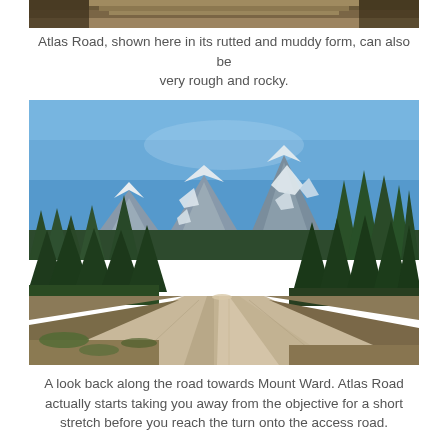[Figure (photo): Top portion of a photo showing a rutted and muddy road, cropped at the top of the page]
Atlas Road, shown here in its rutted and muddy form, can also be very rough and rocky.
[Figure (photo): A dirt road leading toward snow-capped mountains (Mount Ward) flanked by dense coniferous forest under a clear blue sky]
A look back along the road towards Mount Ward. Atlas Road actually starts taking you away from the objective for a short stretch before you reach the turn onto the access road.